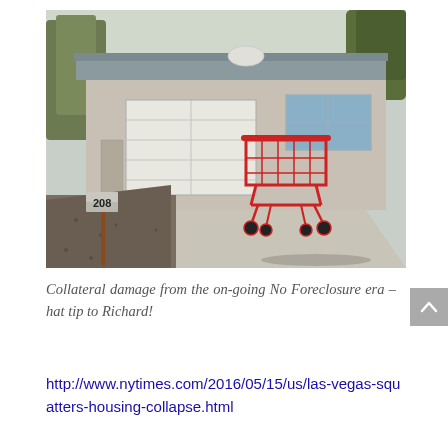[Figure (photo): A single-story suburban house with a white garage door and gray/tan exterior. A red shopping cart sits abandoned on the concrete driveway. A mailbox with the number 208 is visible on the left side. The front yard has gravel landscaping. Trees are visible in the background.]
Collateral damage from the on-going No Foreclosure era – hat tip to Richard!
http://www.nytimes.com/2016/05/15/us/las-vegas-squatters-housing-collapse.html